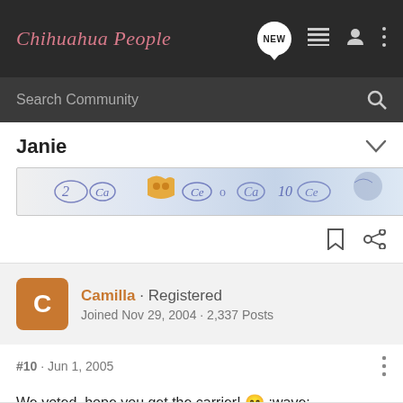Chihuahua People
Search Community
Janie
[Figure (illustration): Decorative banner image with illustrated chihuahua and paw print graphics on light blue background]
Camilla · Registered
Joined Nov 29, 2004 · 2,337 Posts
#10 · Jun 1, 2005
We voted, hope you get the carrier! 😁 :wave: